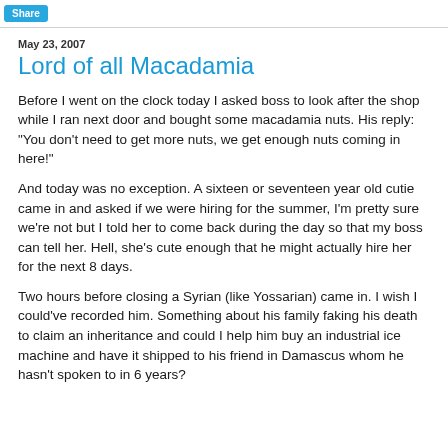Share
May 23, 2007
Lord of all Macadamia
Before I went on the clock today I asked boss to look after the shop while I ran next door and bought some macadamia nuts. His reply: "You don't need to get more nuts, we get enough nuts coming in here!"
And today was no exception. A sixteen or seventeen year old cutie came in and asked if we were hiring for the summer, I'm pretty sure we're not but I told her to come back during the day so that my boss can tell her. Hell, she's cute enough that he might actually hire her for the next 8 days.
Two hours before closing a Syrian (like Yossarian) came in. I wish I could've recorded him. Something about his family faking his death to claim an inheritance and could I help him buy an industrial ice machine and have it shipped to his friend in Damascus whom he hasn't spoken to in 6 years?